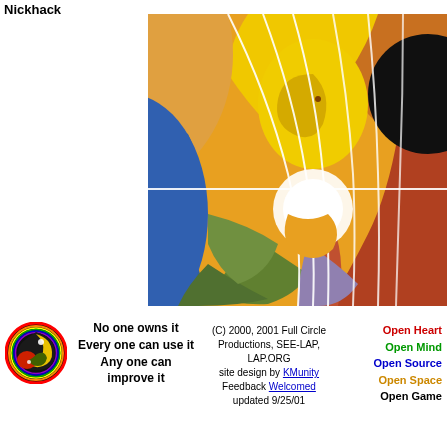Nickhack
[Figure (illustration): Abstract colorful digital artwork featuring curved shapes in orange, yellow, green, blue, red, and black with white curved lines crossing through the composition, resembling a stylized bird or yin-yang motif]
[Figure (logo): Circular logo with swirling colors including black, yellow, red, green, blue in a yin-yang style arrangement with a rainbow border]
No one owns it
Every one can use it
Any one can improve it
(C) 2000, 2001 Full Circle Productions, SEE-LAP, LAP.ORG
site design by KMunity Feedback Welcomed
updated 9/25/01
Open Heart
Open Mind
Open Source
Open Space
Open Game